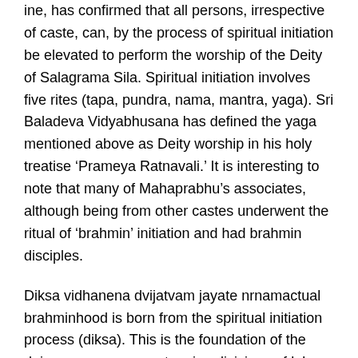ine, has confirmed that all persons, irrespective of caste, can, by the process of spiritual initiation be elevated to perform the worship of the Deity of Salagrama Sila. Spiritual initiation involves five rites (tapa, pundra, nama, mantra, yaga). Sri Baladeva Vidyabhusana has defined the yaga mentioned above as Deity worship in his holy treatise ‘Prameya Ratnavali.’ It is interesting to note that many of Mahaprabhu’s associates, although being from other castes underwent the ritual of ‘brahmin’ initiation and had brahmin disciples.
Diksa vidhanena dvijatvam jayate nrnamactual brahminhood is born from the spiritual initiation process (diksa). This is the foundation of the daiva-varnasrama system i.e. divisions of labour and class in one’s stage of life only by the basis of devotion. The only criteria for actual qualification in this human life is devotion to the Supreme Lord.